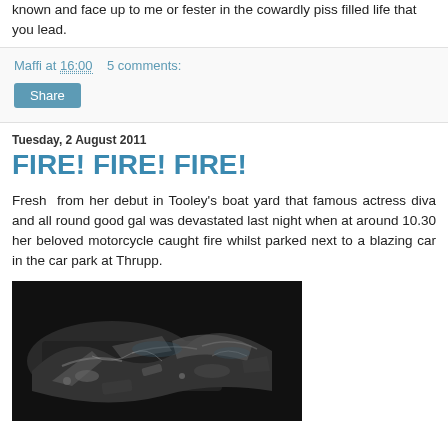known and face up to me or fester in the cowardly piss filled life that you lead.
Maffi at 16:00   5 comments:
Share
Tuesday, 2 August 2011
FIRE! FIRE! FIRE!
Fresh from her debut in Tooley's boat yard that famous actress diva and all round good gal was devastated last night when at around 10.30 her beloved motorcycle caught fire whilst parked next to a blazing car in the car park at Thrupp.
[Figure (photo): Burned and destroyed motorcycle wreckage, charred metal parts on dark background]